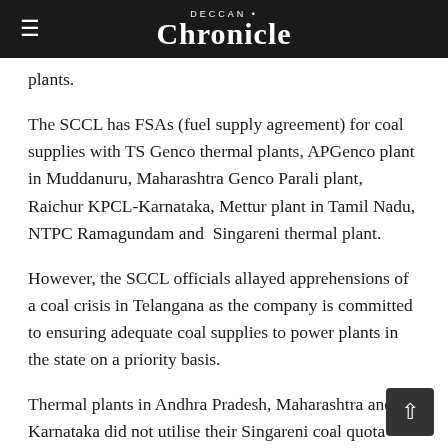Deccan Chronicle
plants.
The SCCL has FSAs (fuel supply agreement) for coal supplies with TS Genco thermal plants, APGenco plant in Muddanuru, Maharashtra Genco Parali plant, Raichur KPCL-Karnataka, Mettur plant in Tamil Nadu, NTPC Ramagundam and Singareni thermal plant.
However, the SCCL officials allayed apprehensions of a coal crisis in Telangana as the company is committed to ensuring adequate coal supplies to power plants in the state on a priority basis.
Thermal plants in Andhra Pradesh, Maharashtra and Karnataka did not utilise their Singareni coal quota allocated for a period from April to June this year. These states are now seeking their unutilised quota